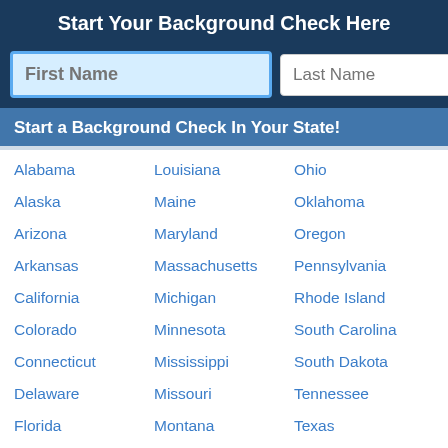Start Your Background Check Here
First Name | Last Name | [search button]
Start a Background Check In Your State!
Alabama
Louisiana
Ohio
Alaska
Maine
Oklahoma
Arizona
Maryland
Oregon
Arkansas
Massachusetts
Pennsylvania
California
Michigan
Rhode Island
Colorado
Minnesota
South Carolina
Connecticut
Mississippi
South Dakota
Delaware
Missouri
Tennessee
Florida
Montana
Texas
Georgia
Nebraska
Utah
Hawaii
Nevada
Virginia